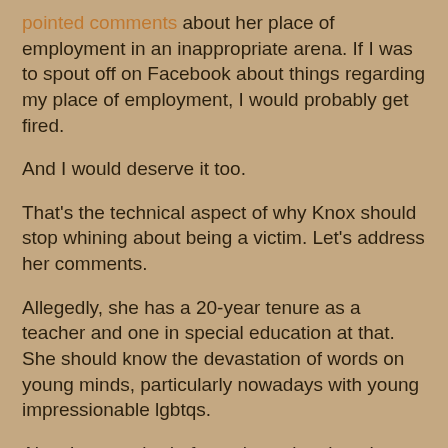pointed comments about her place of employment in an inappropriate arena. If I was to spout off on Facebook about things regarding my place of employment, I would probably get fired.
And I would deserve it too.
That's the technical aspect of why Knox should stop whining about being a victim.  Let's address her comments.
Allegedly, she has a 20-year tenure as a teacher and one in special education at that. She should know the devastation of words on young minds, particularly nowadays with young impressionable lgbtqs.
Also, I am so tired of people saying that she merely "expressed a religious view."  What is with this attempt to disguise vulgar hatred as religious views?
Earlier this week, a pastor from a North Carolina church claimed that gay men have so much sex that they need surgery and diapers. No doubt if questioned on it, he would